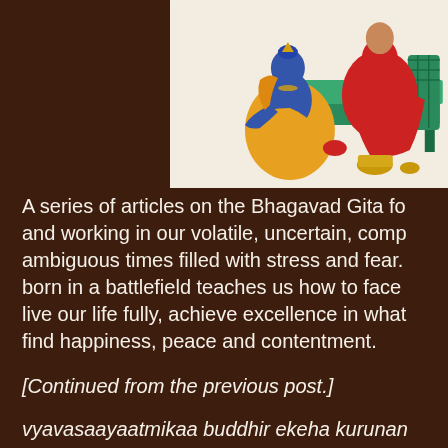[Figure (illustration): Traditional Indian painting showing a blue-skinned figure (Krishna) in yellow robes kneeling/sitting before a figure in red robes seated on a green couch or bed, with a golden vessel nearby, on a light background.]
A series of articles on the Bhagavad Gita for and working in our volatile, uncertain, complex, ambiguous times filled with stress and fear. A wisdom born in a battlefield teaches us how to face life, live our life fully, achieve excellence in what we do, find happiness, peace and contentment.
[Continued from the previous post.]
vyavasaayaatmikaa buddhir ekeha kurunam
bahushaakhaa hyanantaashcha buddhayo